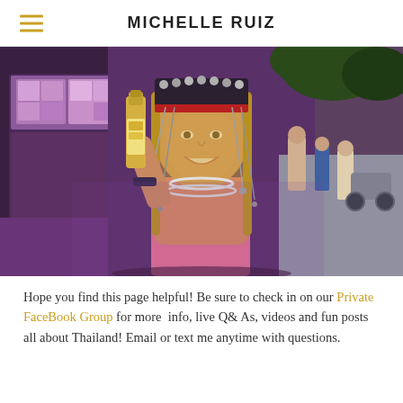MICHELLE RUIZ
[Figure (photo): A woman wearing a decorative beaded headpiece and pearl necklace, holding up a beer bottle and smiling at the camera. She is wearing a pink tank top. Background shows a busy night market street scene in Thailand.]
Hope you find this page helpful! Be sure to check in on our Private FaceBook Group for more  info, live Q& As, videos and fun posts all about Thailand! Email or text me anytime with questions.